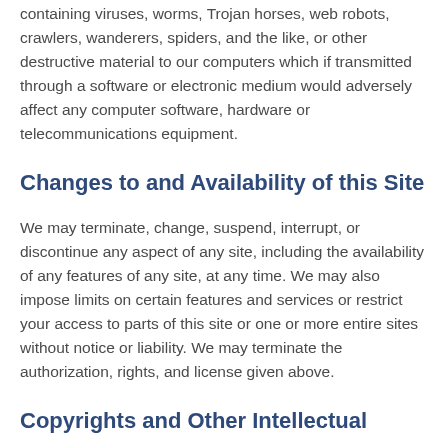containing viruses, worms, Trojan horses, web robots, crawlers, wanderers, spiders, and the like, or other destructive material to our computers which if transmitted through a software or electronic medium would adversely affect any computer software, hardware or telecommunications equipment.
Changes to and Availability of this Site
We may terminate, change, suspend, interrupt, or discontinue any aspect of any site, including the availability of any features of any site, at any time. We may also impose limits on certain features and services or restrict your access to parts of this site or one or more entire sites without notice or liability. We may terminate the authorization, rights, and license given above.
Copyrights and Other Intellectual